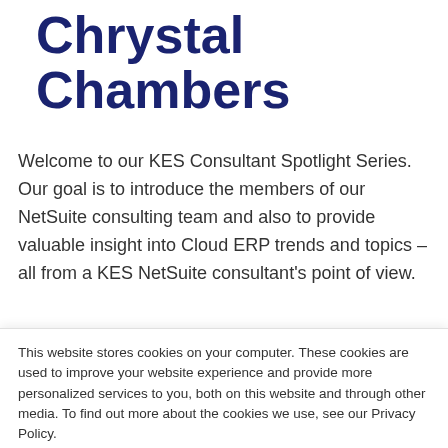Chrystal Chambers
Welcome to our KES Consultant Spotlight Series. Our goal is to introduce the members of our NetSuite consulting team and also to provide valuable insight into Cloud ERP trends and topics – all from a KES NetSuite consultant's point of view.
Featured Consultant: Chrystal Chambers, Member and
This website stores cookies on your computer. These cookies are used to improve your website experience and provide more personalized services to you, both on this website and through other media. To find out more about the cookies we use, see our Privacy Policy.
We won't track your information when you visit our site. But in order to comply with your preferences, we'll have to use just one tiny cookie so that you're not asked to make this choice again.
Accept
Decline